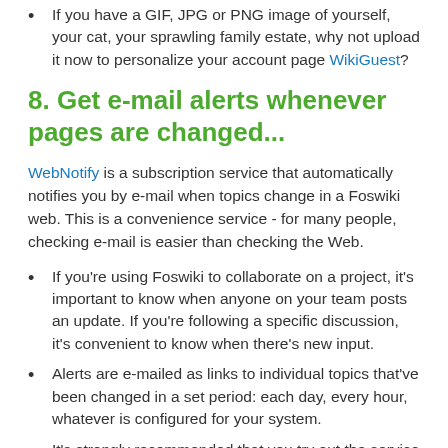If you have a GIF, JPG or PNG image of yourself, your cat, your sprawling family estate, why not upload it now to personalize your account page WikiGuest?
8. Get e-mail alerts whenever pages are changed...
WebNotify is a subscription service that automatically notifies you by e-mail when topics change in a Foswiki web. This is a convenience service - for many people, checking e-mail is easier than checking the Web.
If you're using Foswiki to collaborate on a project, it's important to know when anyone on your team posts an update. If you're following a specific discussion, it's convenient to know when there's new input.
Alerts are e-mailed as links to individual topics that've been changed in a set period: each day, every hour, whatever is configured for your system.
It's strongly recommended that you try out the service by subscribing to each Foswiki web that's relevant to you.